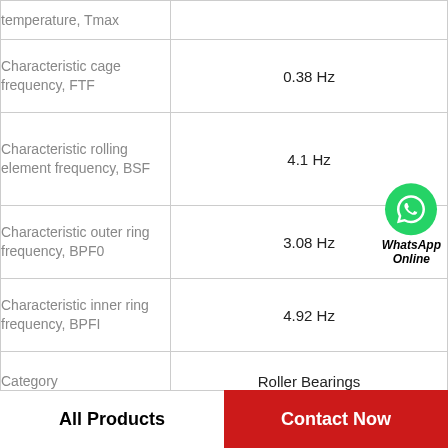| Property | Value |
| --- | --- |
| temperature, Tmax |  |
| Characteristic cage frequency, FTF | 0.38 Hz |
| Characteristic rolling element frequency, BSF | 4.1 Hz |
| Characteristic outer ring frequency, BPF0 | 3.08 Hz |
| Characteristic inner ring frequency, BPFI | 4.92 Hz |
| Category | Roller Bearings |
| Inventory | 0.0 |
[Figure (logo): WhatsApp Online badge with green phone icon circle and bold italic text 'WhatsApp Online']
All Products
Contact Now